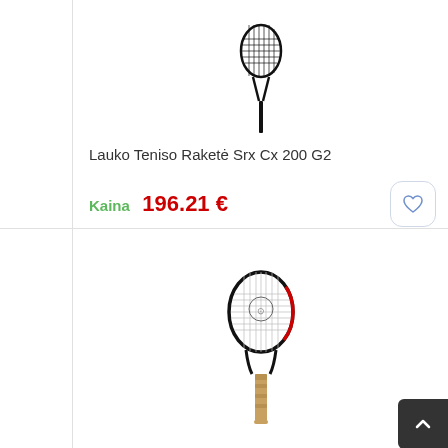[Figure (illustration): Tennis racket outline/wireframe, black on white, partial view at top]
Lauko Teniso Raketė Srx Cx 200 G2
Kaina  196.21 €
[Figure (illustration): Dunlop tennis racket with red accents and wooden grip, full view]
Lauko Teniso Raketė Srx Cx 200 Tour (18X20) G3